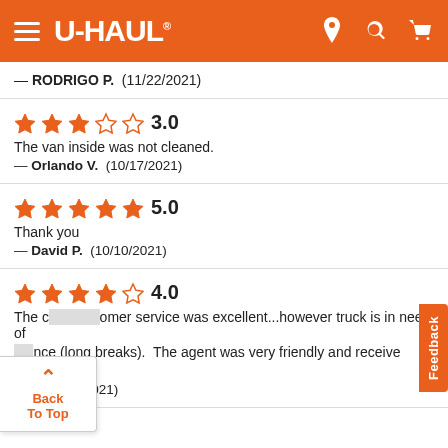U-HAUL
— RODRIGO P.  (11/22/2021)
★★★☆☆ 3.0
The van inside was not cleaned.
— Orlando V.  (10/17/2021)
★★★★★ 5.0
Thank you
— David P.  (10/10/2021)
★★★★☆ 4.0
The customer service was excellent...however truck is in need of nce (long breaks). The agent was very friendly and receive very well.
— T.  (9/21/2021)